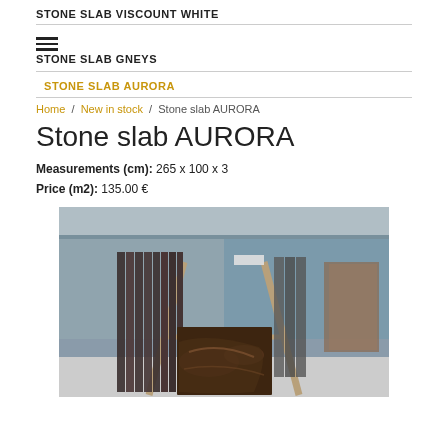STONE SLAB VISCOUNT WHITE
STONE SLAB GNEYS
STONE SLAB AURORA
Home / New in stock / Stone slab AURORA
Stone slab AURORA
Measurements (cm): 265 x 100 x 3
Price (m2): 135.00 €
[Figure (photo): Photo of dark brown Aurora stone slabs displayed on an A-frame rack in a warehouse setting, with multiple slabs visible]